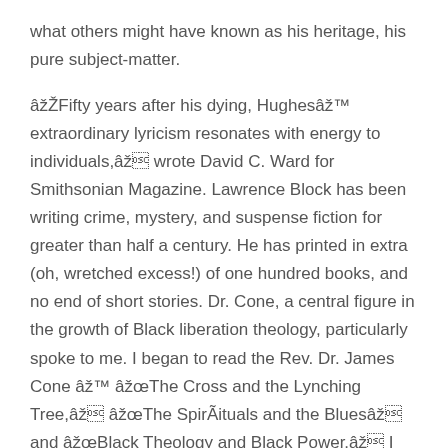what others might have known as his heritage, his pure subject-matter.
âFifty years after his dying, Hughesâ extraordinary lyricism resonates with energy to individuals,â wrote David C. Ward for Smithsonian Magazine. Lawrence Block has been writing crime, mystery, and suspense fiction for greater than half a century. He has printed in extra (oh, wretched excess!) of one hundred books, and no end of short stories. Dr. Cone, a central figure in the growth of Black liberation theology, particularly spoke to me. I began to read the Rev. Dr. James Cone â âThe Cross and the Lynching Tree,â âThe SpirÃituals and the Bluesâ and âBlack Theology and Black Power.â I read J.
Cover of the October 1928 problem of The Negro American with photograph of Miss Erma Sweatt, sister of civil-rights activist Heman Sweatt. The Negro American was a Harlem Renaissance era magazine printed in San Antonio, Texas, that declared itself to be “the only magazine within the South dedicated to Negro life and